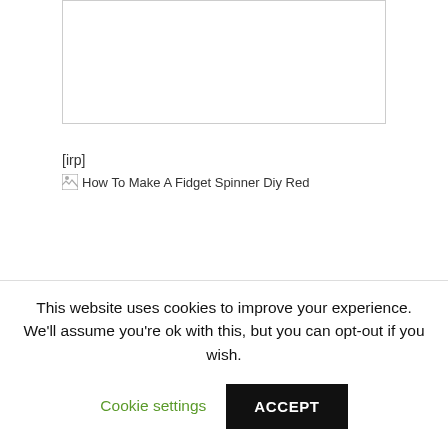[Figure (other): Empty white box with light grey border, representing a placeholder image region]
[irp]
[Figure (other): Broken image placeholder with alt text: How To Make A Fidget Spinner Diy Red]
This website uses cookies to improve your experience. We'll assume you're ok with this, but you can opt-out if you wish.
Cookie settings
ACCEPT